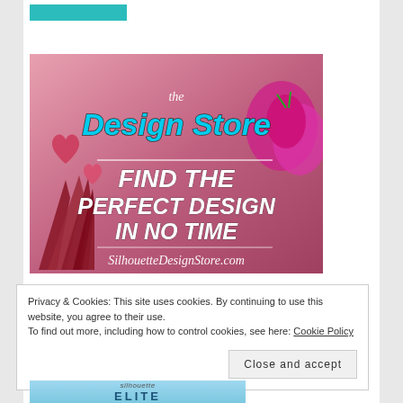[Figure (illustration): Teal/turquoise rectangular bar at the top left of the content area]
[Figure (photo): Advertisement banner for 'the Design Store' by Silhouette. Pink and red background with paper fan decorations, hearts, and strawberries. Text reads: 'the Design Store' in teal script at top, then 'FIND THE PERFECT DESIGN IN NO TIME' in large bold white italic text, then 'SilhouetteDesignStore.com' in white italic text at bottom.]
Privacy & Cookies: This site uses cookies. By continuing to use this website, you agree to their use.
To find out more, including how to control cookies, see here: Cookie Policy
Close and accept
[Figure (logo): Partial view of Silhouette ELITE banner in light blue at bottom of page]